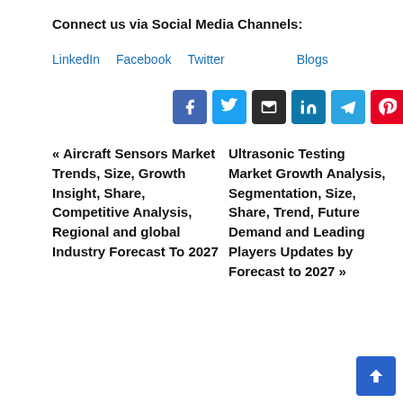Connect us via Social Media Channels:
LinkedIn  Facebook  Twitter  Blogs
[Figure (other): Row of social media icon buttons: Facebook (blue), Twitter (light blue), Email (dark), LinkedIn (teal), Telegram (blue), Pinterest (red)]
« Aircraft Sensors Market Trends, Size, Growth Insight, Share, Competitive Analysis, Regional and global Industry Forecast To 2027
Ultrasonic Testing Market Growth Analysis, Segmentation, Size, Share, Trend, Future Demand and Leading Players Updates by Forecast to 2027 »